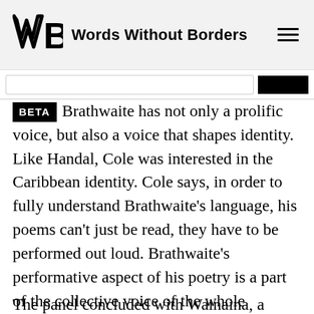Words Without Borders
[Figure (logo): Words Without Borders logo with stylized WB lettermark]
Brathwaite has not only a prolific voice, but also a voice that shapes identity. Like Handal, Cole was interested in the Caribbean identity. Cole says, in order to fully understand Brathwaite's language, his poems can't just be read, they have to be performed out loud. Brathwaite's performative aspect of his poetry is a part of the collective voice of the whole Caribbean. He dances around the podium and delivers the lines using the rural dialect of Ghana, which helped create the way the Caribbean speaks.
The panel concluded with Wainaina, a Kenyan